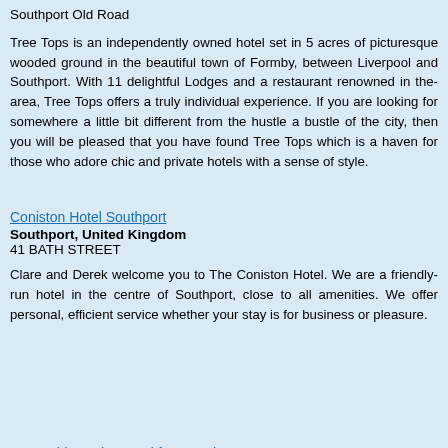Southport Old Road
Tree Tops is an independently owned hotel set in 5 acres of picturesque wooded ground in the beautiful town of Formby, between Liverpool and Southport. With 11 delightful Lodges and a restaurant renowned in the area, Tree Tops offers a truly individual experience. If you are looking for somewhere a little bit different from the hustle a bustle of the city, then you will be pleased that you have found Tree Tops which is a haven for those who adore chic and private hotels with a sense of style.
Coniston Hotel Southport
Southport, United Kingdom
41 BATH STREET
Clare and Derek welcome you to The Coniston Hotel. We are a friendly family run hotel in the centre of Southport, close to all amenities. We offer personal, efficient service whether your stay is for business or pleasure.
Sunnyside Bed & Breakfast Southport
Southport, United Kingdom
47 Bath Street Southport